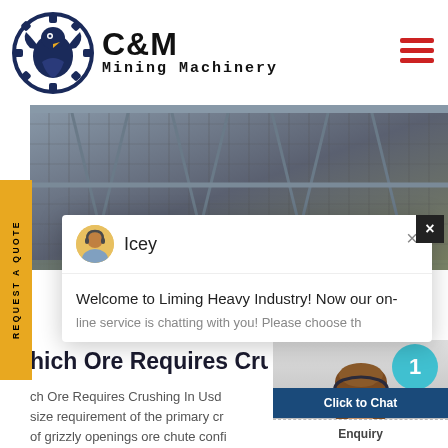[Figure (logo): C&M Mining Machinery logo with eagle in gear circle emblem, dark navy color]
[Figure (photo): Industrial mining facility interior with steel trusses and conveyor belts]
REQUEST A QUOTE
[Figure (screenshot): Chat popup with avatar of Icey, message: Welcome to Liming Heavy Industry! Now our on-line service is chatting with you! Please choose th...]
hich Ore Requires Crus
ch Ore Requires Crushing In Usd size requirement of the primary cr of grizzly openings ore chute confi throughput ore moisture and othe
[Figure (photo): Customer service representative woman wearing headset, with teal notification badge showing 1]
Click to Chat
Enquiry